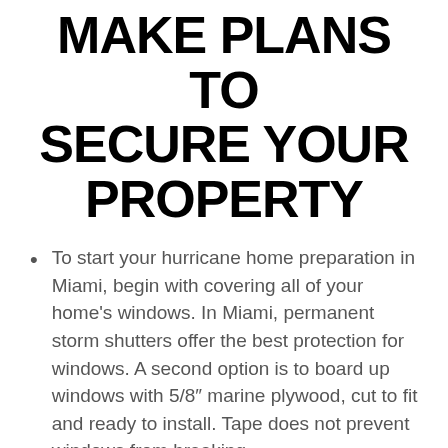MAKE PLANS TO SECURE YOUR PROPERTY
To start your hurricane home preparation in Miami, begin with covering all of your home's windows. In Miami, permanent storm shutters offer the best protection for windows. A second option is to board up windows with 5/8″ marine plywood, cut to fit and ready to install. Tape does not prevent windows from breaking.
Install straps or additional clips to securely fasten your roof to the frame structure.